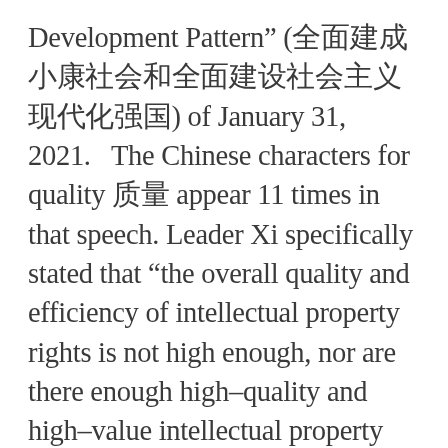Development Pattern” (全面建成小康社会和全面建设社会主义现代化强国) of January 31, 2021.  The Chinese characters for quality 质量 appear 11 times in that speech. Leader Xi specifically stated that “the overall quality and efficiency of intellectual property rights is not high enough, nor are there enough high-quality and high-value intellectual property rights” (“知识产权的整体质量和效益还不够高，高价値高质量的知识产权还不够多”).  The contents of that article were likely also known to CNIPA’s leadership as it was derived from a speech given on November 30, 2020.  For political reasons, data reporting may have needed to be adjusted to minimize an apparent conflict